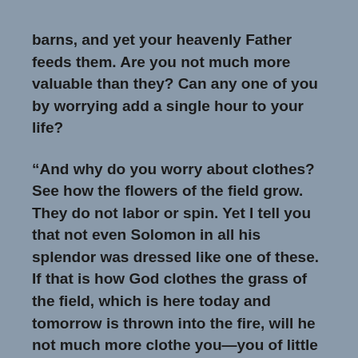barns, and yet your heavenly Father feeds them. Are you not much more valuable than they? Can any one of you by worrying add a single hour to your life?
“And why do you worry about clothes? See how the flowers of the field grow. They do not labor or spin. Yet I tell you that not even Solomon in all his splendor was dressed like one of these. If that is how God clothes the grass of the field, which is here today and tomorrow is thrown into the fire, will he not much more clothe you—you of little faith? -Matthew 6:25-34